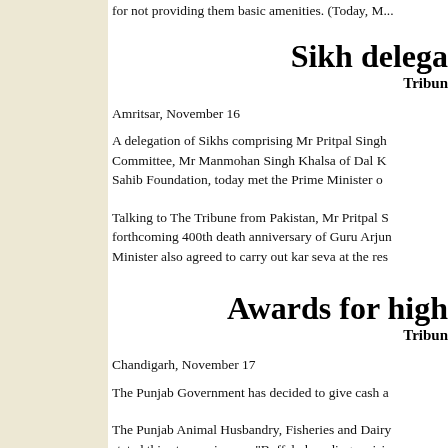for not providing them basic amenities. (Today, M...
Sikh delega
Tribune
Amritsar, November 16
A delegation of Sikhs comprising Mr Pritpal Singh...
Committee, Mr Manmohan Singh Khalsa of Dal K...
Sahib Foundation, today met the Prime Minister o...
Talking to The Tribune from Pakistan, Mr Pritpal S...
forthcoming 400th death anniversary of Guru Arjun...
Minister also agreed to carry out kar seva at the res...
Awards for high
Tribune
Chandigarh, November 17
The Punjab Government has decided to give cash a...
The Punjab Animal Husbandry, Fisheries and Dairy...
stated this at a seminar on "Buffalo breeding—visi...